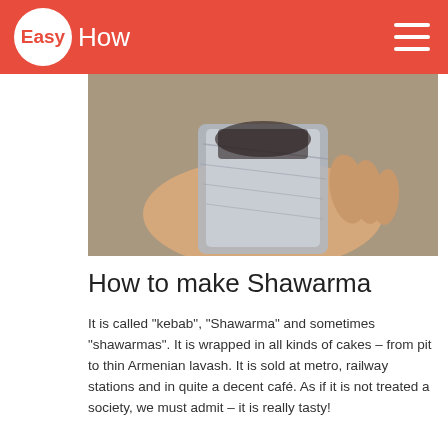Easy How
[Figure (photo): A hand holding a wrapped shawarma/kebab in foil or paper wrap]
How to make Shawarma
It is called "kebab", "Shawarma" and sometimes "shawarmas". It is wrapped in all kinds of cakes – from pit to thin Armenian lavash. It is sold at metro, railway stations and in quite a decent café. As if it is not treated a society, we must admit – it is really tasty!
[Figure (photo): A bowl of soup with herbs (parsley/cilantro), carrots, and a ladle, accompanied by a piece of flatbread]